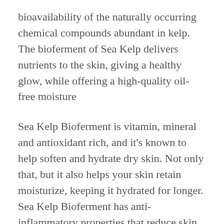bioavailability of the naturally occurring chemical compounds abundant in kelp. The bioferment of Sea Kelp delivers nutrients to the skin, giving a healthy glow, while offering a high-quality oil-free moisture
Sea Kelp Bioferment is vitamin, mineral and antioxidant rich, and it's known to help soften and hydrate dry skin. Not only that, but it also helps your skin retain moisturize, keeping it hydrated for longer. Sea Kelp Bioferment has anti-inflammatory properties that reduce skin redness and is also a powerful anti-aging ingredient, rich in  anti-oxidants, that protect the skin against UVA rays, external aggressors and daily pollution.